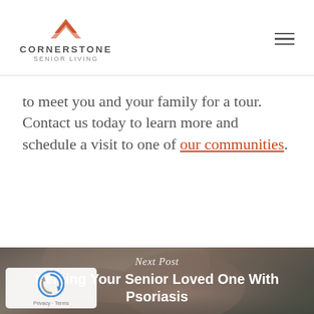CORNERSTONE SENIOR LIVING
to meet you and your family for a tour. Contact us today to learn more and schedule a visit to one of our communities.
[Figure (photo): Close-up photo of two elderly hands holding each other with blurred green background, used as background for the next post section]
Next Post
Helping Your Senior Loved One With Psoriasis